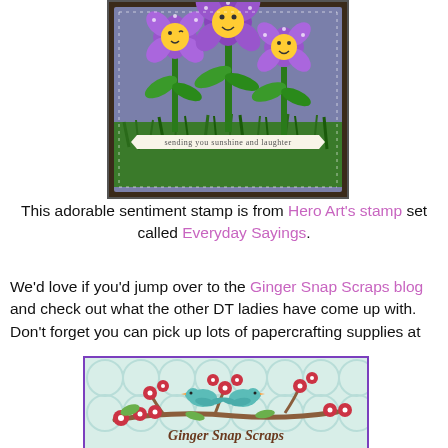[Figure (photo): Handmade greeting card with three purple flowers with smiley sun faces, green leaves and grass, on a blue background. A banner at the bottom reads 'sending you sunshine and laughter'. Dark border with white stitching detail.]
This adorable sentiment stamp is from Hero Art's stamp set called Everyday Sayings.
We'd love if you'd jump over to the Ginger Snap Scraps blog and check out what the other DT ladies have come up with. Don't forget you can pick up lots of papercrafting supplies at
[Figure (logo): Ginger Snap Scraps logo with two teal birds on a cherry blossom branch with red flowers, light blue geometric background, and 'Ginger Snap Scraps' text in brown below.]